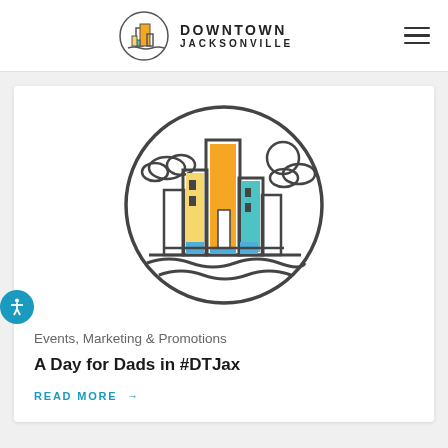DOWNTOWN JACKSONVILLE
[Figure (logo): Downtown Jacksonville circular city skyline logo with colorful buildings in orange, yellow, teal, and blue inside a circle with water waves at the bottom]
Events, Marketing & Promotions
A Day for Dads in #DTJax
READ MORE →